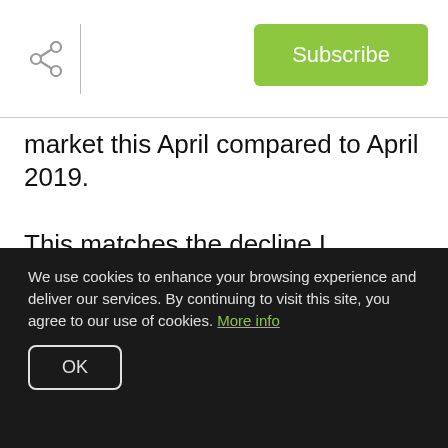Subscribe
market this April compared to April 2019.

This matches the decline I predicted after the Austin Board of Realtor's March stats initially seemed so artificially rosy.  The market paused and transactions slowed, as expected.  There were fewer buyers looking for homes and fewer sellers putting their home on the market which meant there were fewer sales
We use cookies to enhance your browsing experience and deliver our services. By continuing to visit this site, you agree to our use of cookies. More info
OK